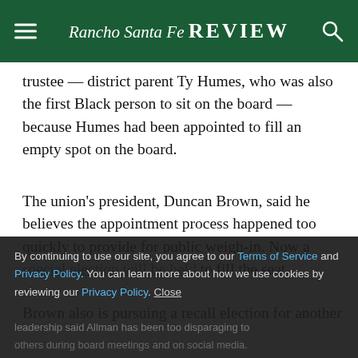Rancho Santa Fe REVIEW
trustee — district parent Ty Humes, who was also the first Black person to sit on the board — because Humes had been appointed to fill an empty spot on the board.
The union's president, Duncan Brown, said he believes the appointment process happened too quickly to provide for public weigh-in. Now a special election will be held to fill the seat.
Brown also is pursuing a recall election for another board trustee, Michael Allman, because union leadership said Allman has been too disparaging to others during board meetings and on social media.
By continuing to use our site, you agree to our Terms of Service and Privacy Policy. You can learn more about how we use cookies by reviewing our Privacy Policy. Close